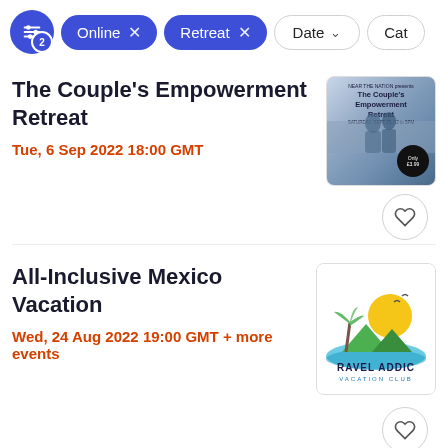[Figure (screenshot): Filter bar with active filter pills: settings icon with badge 2, 'Online x', 'Retreat x', 'Date' dropdown, 'Cat' (Category) partial dropdown]
The Couple's Empowerment Retreat
Tue, 6 Sep 2022 18:00 GMT
[Figure (photo): Thumbnail for The Couple's Empowerment Retreat showing a couple on a beach with pricing badge 'Only £3.99']
All-Inclusive Mexico Vacation
Wed, 24 Aug 2022 19:00 GMT + more events
[Figure (logo): Travel Addic Vacation Club logo with palm tree and sun graphic]